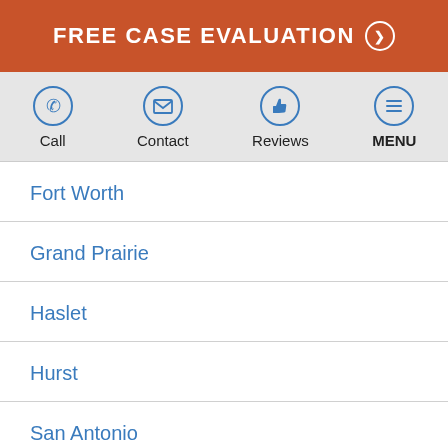FREE CASE EVALUATION
[Figure (infographic): Navigation bar with four icons: Call (phone), Contact (envelope), Reviews (thumbs up), MENU (hamburger). Icons are outlined circles in blue on a gray background.]
Fort Worth
Grand Prairie
Haslet
Hurst
San Antonio